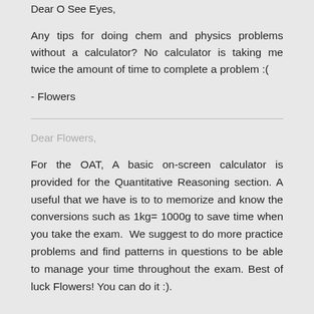Dear O See Eyes,
Any tips for doing chem and physics problems without a calculator? No calculator is taking me twice the amount of time to complete a problem :(
- Flowers
Dear Flowers,
For the OAT, A basic on-screen calculator is provided for the Quantitative Reasoning section. A useful that we have is to to memorize and know the conversions such as 1kg= 1000g to save time when you take the exam. We suggest to do more practice problems and find patterns in questions to be able to manage your time throughout the exam. Best of luck Flowers! You can do it :).